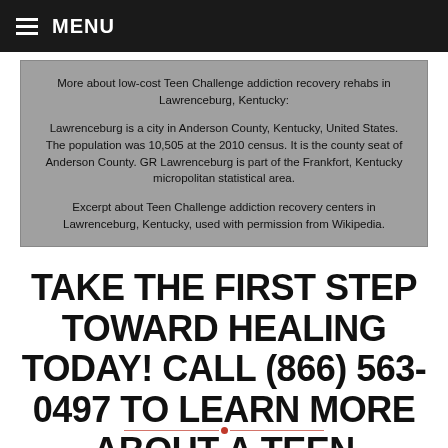≡ MENU
More about low-cost Teen Challenge addiction recovery rehabs in Lawrenceburg, Kentucky:

Lawrenceburg is a city in Anderson County, Kentucky, United States. The population was 10,505 at the 2010 census. It is the county seat of Anderson County. GR Lawrenceburg is part of the Frankfort, Kentucky micropolitan statistical area.

Excerpt about Teen Challenge addiction recovery centers in Lawrenceburg, Kentucky, used with permission from Wikipedia.
TAKE THE FIRST STEP TOWARD HEALING TODAY! CALL (866) 563-0497 TO LEARN MORE ABOUT A TEEN CHALLENGE CHRISTIAN REHAB NEAR YOU.